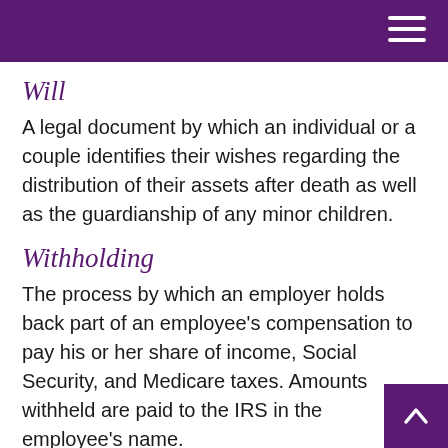Will
A legal document by which an individual or a couple identifies their wishes regarding the distribution of their assets after death as well as the guardianship of any minor children.
Withholding
The process by which an employer holds back part of an employee's compensation to pay his or her share of income, Social Security, and Medicare taxes. Amounts withheld are paid to the IRS in the employee's name.
Yield
A measure of the performance of an investment.